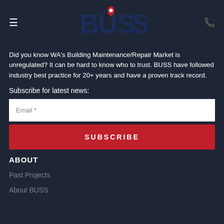BUSS (logo with hamburger menu and phone icon)
Did you know WA's Building Maintenance/Repair Market is unregulated? It can be hard to know who to trust. BUSS have followed industry best practice for 20+ years and have a proven track record.
Subscribe for latest news:
Email *
SUBSCRIBE
ABOUT
Past Projects
About BUSS